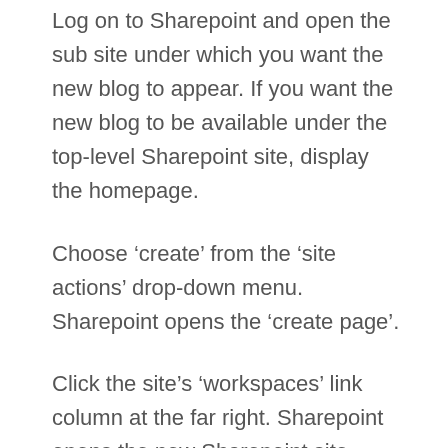Log on to Sharepoint and open the sub site under which you want the new blog to appear. If you want the new blog to be available under the top-level Sharepoint site, display the homepage.
Choose ‘create’ from the ‘site actions’ drop-down menu. Sharepoint opens the ‘create page’.
Click the site’s ‘workspaces’ link column at the far right. Sharepoint opens the new Sharepoint site page.
Type the name of the new blog in the